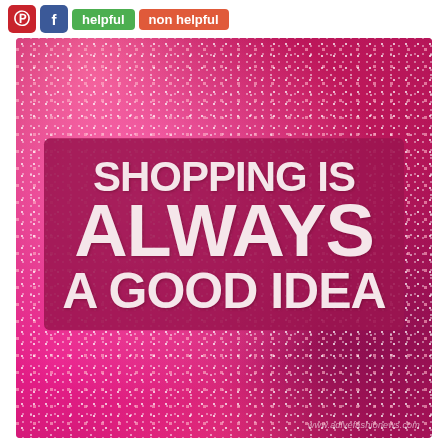[Figure (infographic): Social sharing UI bar with Pinterest, Facebook, helpful and non helpful buttons at top, followed by a glittery pink/magenta background image containing a dark pink/magenta box with large white bold uppercase text reading SHOPPING IS ALWAYS A GOOD IDEA, with a small watermark at bottom right reading www.adivefashionews.com]
helpful   non helpful